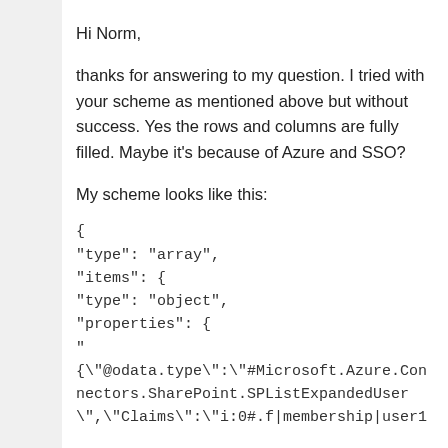Hi Norm,
thanks for answering to my question. I tried with your scheme as mentioned above but without success. Yes the rows and columns are fully filled. Maybe it's because of Azure and SSO?
My scheme looks like this:
{
"type": "array",
"items": {
"type": "object",
"properties": {
"{\"@odata.type\":\"#Microsoft.Azure.Connectors.SharePoint.SPListExpandedUser\",\"Claims\":\"i:0#.f|membership|user1